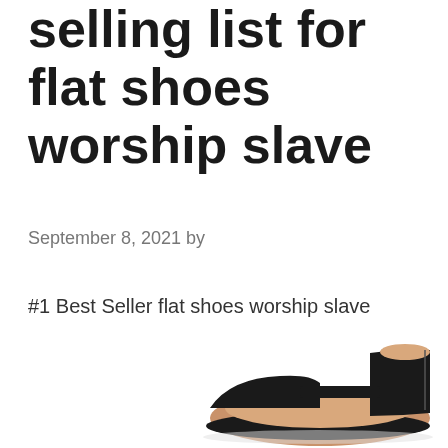selling list for flat shoes worship slave
September 8, 2021 by
#1 Best Seller flat shoes worship slave
[Figure (photo): A black flat shoe with ankle strap and tan/beige interior, photographed from the side, partially cropped at the bottom of the page.]